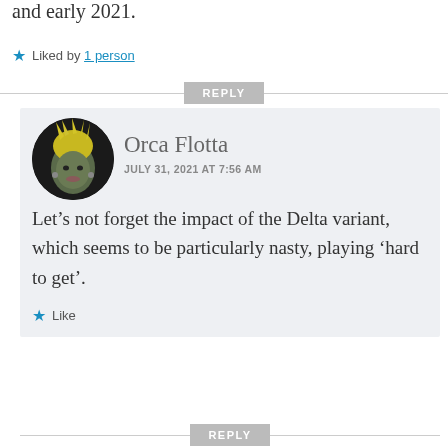and early 2021.
Liked by 1 person
REPLY
[Figure (photo): Round avatar photo of Orca Flotta, a digital/avatar character with blonde spiky hair and dark complexion]
Orca Flotta
JULY 31, 2021 AT 7:56 AM
Let’s not forget the impact of the Delta variant, which seems to be particularly nasty, playing ‘hard to get’.
Like
REPLY